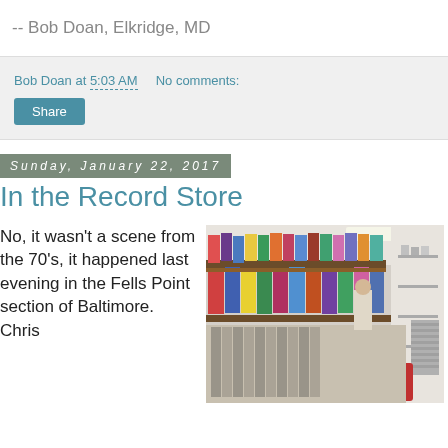-- Bob Doan, Elkridge, MD
Bob Doan at 5:03 AM   No comments:
Share
Sunday, January 22, 2017
In the Record Store
No, it wasn't a scene from the 70's, it happened last evening in the Fells Point section of Baltimore. Chris
[Figure (photo): Interior of a record store showing rows of vinyl records displayed on shelves along the wall, with a person browsing in the background.]